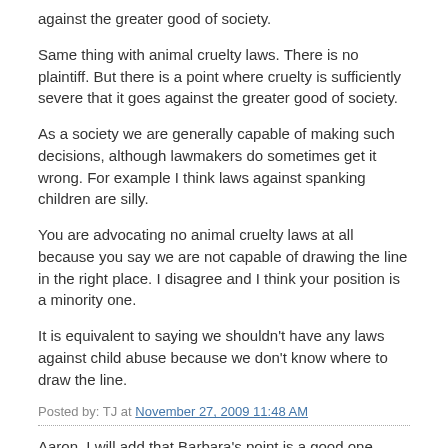against the greater good of society.
Same thing with animal cruelty laws. There is no plaintiff. But there is a point where cruelty is sufficiently severe that it goes against the greater good of society.
As a society we are generally capable of making such decisions, although lawmakers do sometimes get it wrong. For example I think laws against spanking children are silly.
You are advocating no animal cruelty laws at all because you say we are not capable of drawing the line in the right place. I disagree and I think your position is a minority one.
It is equivalent to saying we shouldn't have any laws against child abuse because we don't know where to draw the line.
Posted by: TJ at November 27, 2009 11:48 AM
Aaron, I will add that Barbara's point is a good one.
If you don't have laws you cannot intervene.
If my neighbour is torturing his dog by electrocuting it every day just for fun, and there's no law against it, then there's nothing that can be done to stop it.